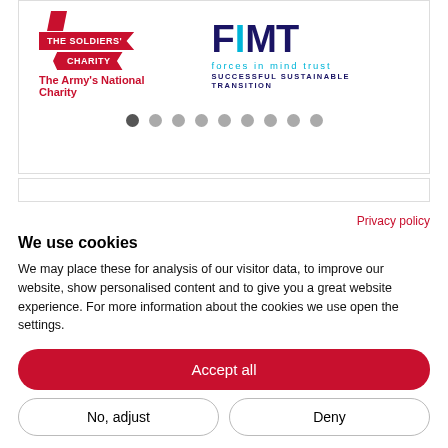[Figure (logo): The Soldiers' Charity ribbon logo with 'The Army's National Charity' text in red, and FiMT (Forces in Mind Trust) logo with 'SUCCESSFUL SUSTAINABLE TRANSITION' tagline]
[Figure (other): Carousel navigation dots, first dot active]
[Figure (screenshot): Partial second section/panel visible below carousel]
Privacy policy
We use cookies
We may place these for analysis of our visitor data, to improve our website, show personalised content and to give you a great website experience. For more information about the cookies we use open the settings.
Accept all
No, adjust
Deny